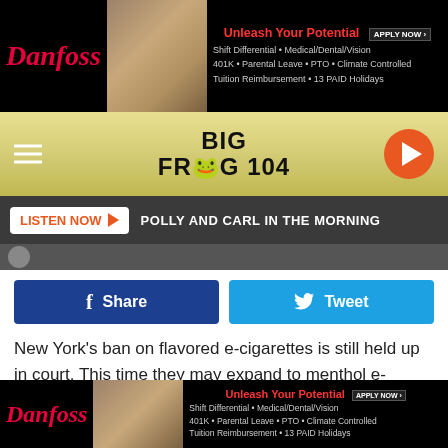[Figure (other): Danfoss advertisement banner - 'Unleash Your Potential' with job benefits listed]
[Figure (logo): Big Frog 104 radio station navigation bar with hamburger menu and play button]
[Figure (other): LISTEN NOW button with 'POLLY AND CARL IN THE MORNING' text on dark bar]
[Figure (other): Facebook Share and Twitter Tweet social sharing buttons]
New York's ban on flavored e-cigarettes is still held up in court. This time they may expand to menthol e-cigarette flavoring.
WHAM13 reports that the state's Public Health and Health Planning Council voted to keep the emergency ban on the books for another 90 days. By doing this, the state is looking
[Figure (other): Danfoss advertisement banner at bottom - 'Unleash Your Potential']